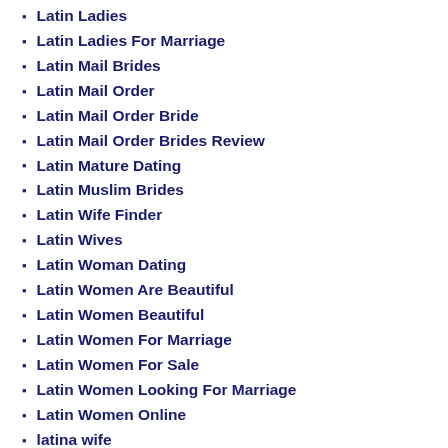Latin Ladies
Latin Ladies For Marriage
Latin Mail Brides
Latin Mail Order
Latin Mail Order Bride
Latin Mail Order Brides Review
Latin Mature Dating
Latin Muslim Brides
Latin Wife Finder
Latin Wives
Latin Woman Dating
Latin Women Are Beautiful
Latin Women Beautiful
Latin Women For Marriage
Latin Women For Sale
Latin Women Looking For Marriage
Latin Women Online
latina wife
latina women
Latvian Dating
Law And Order Russian Brides
lawa